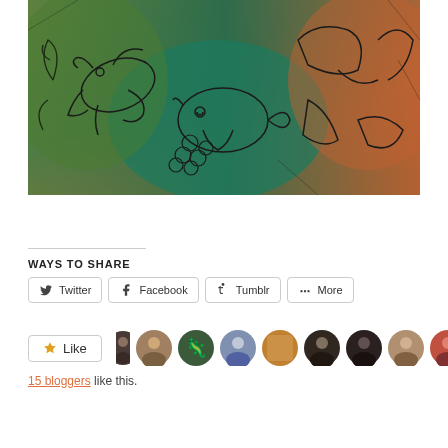[Figure (illustration): Colorful abstract artwork with dark line drawings of birds and fish on a green, orange, and yellow background, reminiscent of Cubist style.]
WAYS TO SHARE
[Figure (infographic): Social share buttons: Twitter, Facebook, Tumblr, More]
[Figure (infographic): Like button with star icon, followed by 10 blogger avatar thumbnails]
15 bloggers like this.